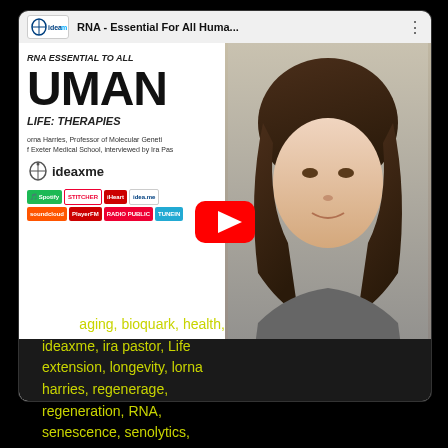[Figure (screenshot): YouTube video thumbnail screenshot showing 'RNA - Essential For All Huma...' with a woman's face on the right, large text 'UMAN' on the left, ideaxme podcast platform logos, and a YouTube play button overlay]
Tags: aging, bioquark, health, ideaxme, ira pastor, Life extension, longevity, lorna harries, regenerage, regeneration, RNA, senescence, senolytics,